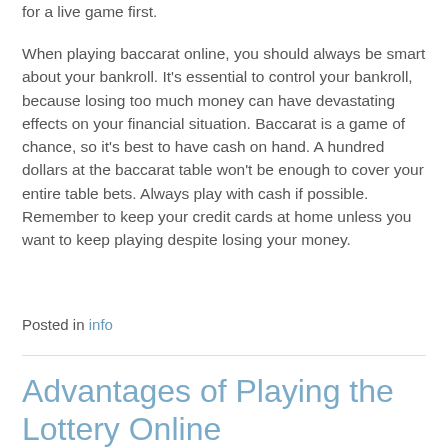for a live game first.
When playing baccarat online, you should always be smart about your bankroll. It’s essential to control your bankroll, because losing too much money can have devastating effects on your financial situation. Baccarat is a game of chance, so it’s best to have cash on hand. A hundred dollars at the baccarat table won’t be enough to cover your entire table bets. Always play with cash if possible. Remember to keep your credit cards at home unless you want to keep playing despite losing your money.
Posted in info
Advantages of Playing the Lottery Online